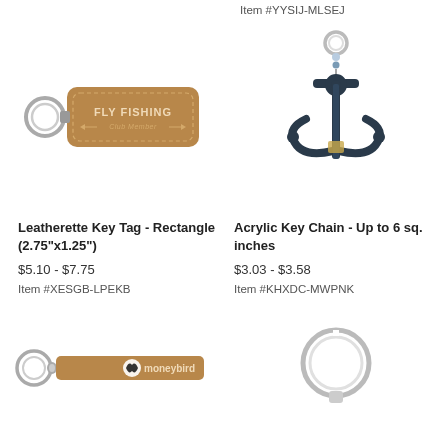Item #YYSIJ-MLSEJ
[Figure (photo): Leatherette rectangle key tag in tan/brown color with 'FLY FISHING Club Member' text engraved, with silver key ring on left side]
[Figure (photo): Acrylic anchor-shaped key chain in dark navy/teal color with silver key ring and small beads at top]
Leatherette Key Tag - Rectangle (2.75"x1.25")
$5.10 - $7.75
Item #XESGB-LPEKB
Acrylic Key Chain - Up to 6 sq. inches
$3.03 - $3.58
Item #KHXDC-MWPNK
[Figure (photo): Tan/brown leatherette strap key chain with metal clasp and 'moneybird' text with logo]
[Figure (photo): Silver key ring visible at right side, partial view of another key chain product]